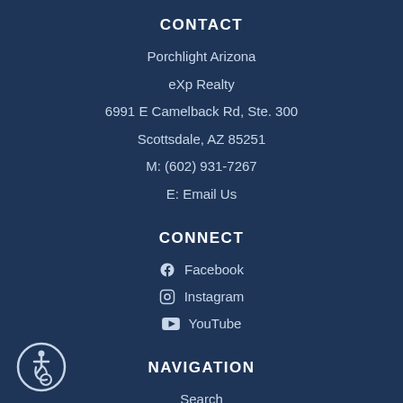CONTACT
Porchlight Arizona
eXp Realty
6991 E Camelback Rd, Ste. 300
Scottsdale, AZ 85251
M: (602) 931-7267
E: Email Us
CONNECT
Facebook
Instagram
YouTube
NAVIGATION
Search
Communities
Buyers
[Figure (illustration): Accessibility icon — circular badge with wheelchair user symbol]